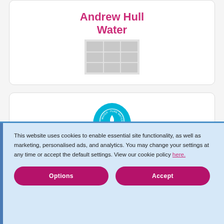[Figure (logo): Card with 'Andrew Hull Water' text in pink and a grid/building placeholder image below]
[Figure (logo): water+ brand logo — teal/cyan colored blob shape with 'water+' text and 'PURE WATER' circular badge on top]
This website uses cookies to enable essential site functionality, as well as marketing, personalised ads, and analytics. You may change your settings at any time or accept the default settings. View our cookie policy here.